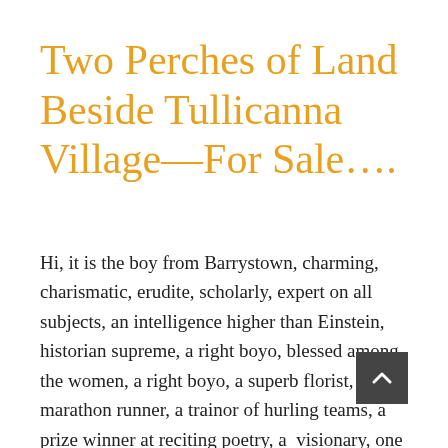Two Perches of Land Beside Tullicanna Village—For Sale….
Hi, it is the boy from Barrystown, charming, charismatic, erudite, scholarly, expert on all subjects, an intelligence higher than Einstein, historian supreme, a right boyo, blessed among the women, a right boyo, a superb florist, a marathon runner, a trainor of hurling teams, a prize winner at reciting poetry, a  visionary, one fated to guide and lead; walks and talks with panache and is above all else, the most wily and devious of them all—that wily boy from beside the